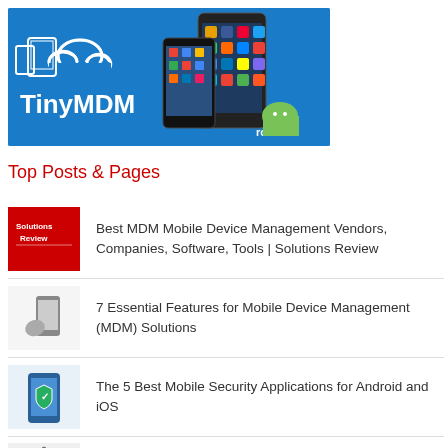[Figure (illustration): TinyMDM banner with blue background showing mobile devices and cloud icons with text 'TinyMDM']
Top Posts & Pages
Best MDM Mobile Device Management Vendors, Companies, Software, Tools | Solutions Review
7 Essential Features for Mobile Device Management (MDM) Solutions
The 5 Best Mobile Security Applications for Android and iOS
5 Essential Mobility and Mobile Security...